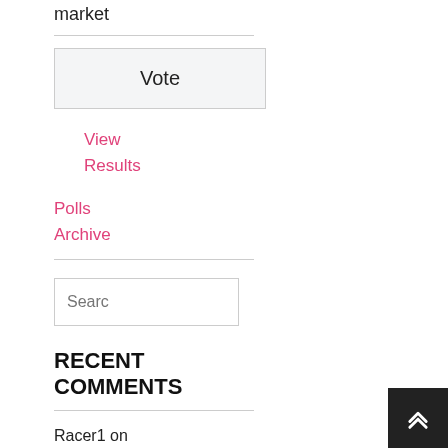market
Vote
View Results
Polls Archive
Searc
RECENT COMMENTS
Racer1 on Promoter's Point